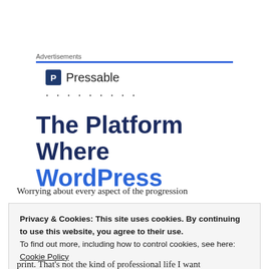Advertisements
[Figure (logo): Pressable logo with blue square icon containing letter P and text 'Pressable', followed by dotted line]
The Platform Where WordPress
Worrying about every aspect of the progression
Privacy & Cookies: This site uses cookies. By continuing to use this website, you agree to their use.
To find out more, including how to control cookies, see here: Cookie Policy
print. That's not the kind of professional life I want